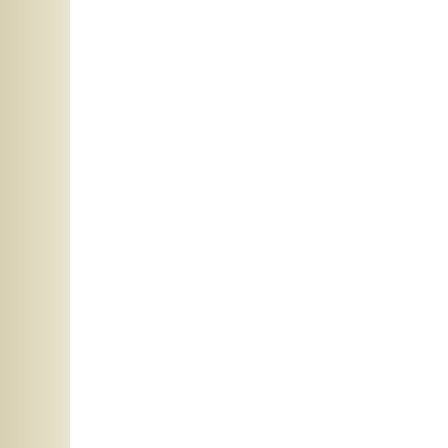|  |
| Gateway Rehabilitati... |
| Georgetown Commu... |
| Greenview Regional... |
| Hardin Memorial Hos... |